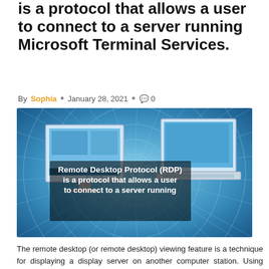is a protocol that allows a user to connect to a server running Microsoft Terminal Services.
By Sophia • January 28, 2021 • 0
[Figure (illustration): Illustration showing two computers (desktop and laptop) against a blue digital network background with text overlay: 'Remote Desktop Protocol (RDP) is a protocol that allows a user to connect to a server running']
The remote desktop (or remote desktop) viewing feature is a technique for displaying a display server on another computer station. Using software called the Remote Desktop Viewer, you can view on your own